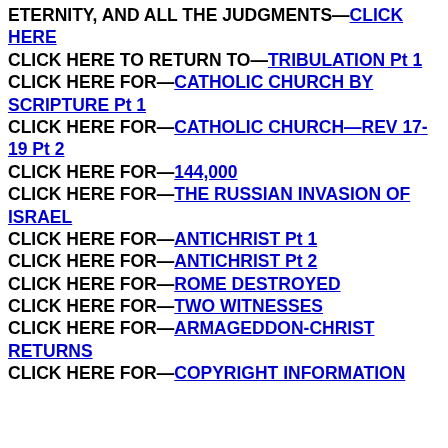ETERNITY, AND ALL THE JUDGMENTS—CLICK HERE
CLICK HERE TO RETURN TO—TRIBULATION Pt 1
CLICK HERE FOR—CATHOLIC CHURCH BY SCRIPTURE Pt 1
CLICK HERE FOR—CATHOLIC CHURCH—REV 17-19 Pt 2
CLICK HERE FOR—144,000
CLICK HERE FOR—THE RUSSIAN INVASION OF ISRAEL
CLICK HERE FOR—ANTICHRIST Pt 1
CLICK HERE FOR—ANTICHRIST Pt 2
CLICK HERE FOR—ROME DESTROYED
CLICK HERE FOR—TWO WITNESSES
CLICK HERE FOR—ARMAGEDDON-CHRIST RETURNS
CLICK HERE FOR—COPYRIGHT INFORMATION